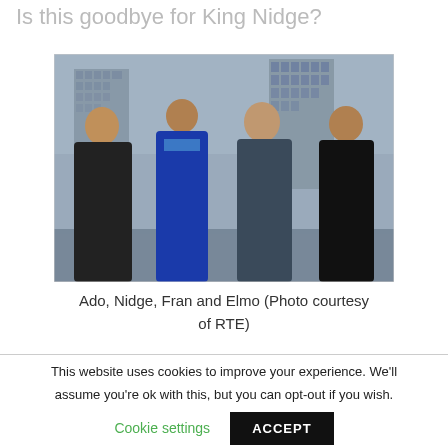Is this goodbye for King Nidge?
[Figure (photo): Four men standing outdoors in front of a high-rise building under a grey sky. From left to right: Ado (dark jacket), Nidge (blue tracksuit top), Fran (grey jacket), Elmo (black jacket). Photo courtesy of RTE.]
Ado, Nidge, Fran and Elmo (Photo courtesy of RTE)
This website uses cookies to improve your experience. We'll assume you're ok with this, but you can opt-out if you wish.
Cookie settings
ACCEPT